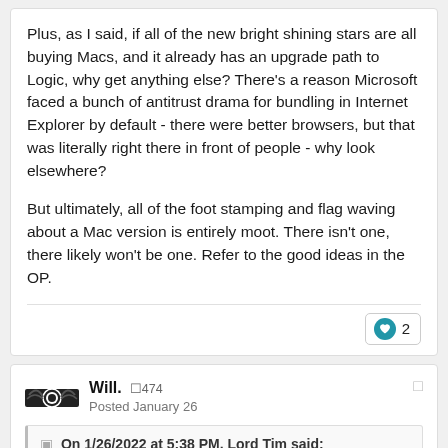Plus, as I said, if all of the new bright shining stars are all buying Macs, and it already has an upgrade path to Logic, why get anything else? There's a reason Microsoft faced a bunch of antitrust drama for bundling in Internet Explorer by default - there were better browsers, but that was literally right there in front of people - why look elsewhere?

But ultimately, all of the foot stamping and flag waving about a Mac version is entirely moot. There isn't one, there likely won't be one. Refer to the good ideas in the OP.
2 (likes)
Will. 0474
Posted January 26
On 1/26/2022 at 5:38 PM, Lord Tim said: